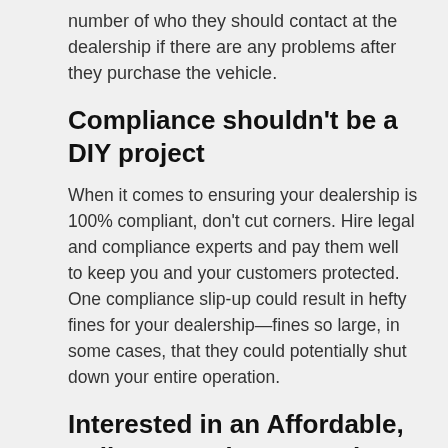number of who they should contact at the dealership if there are any problems after they purchase the vehicle.
Compliance shouldn't be a DIY project
When it comes to ensuring your dealership is 100% compliant, don't cut corners. Hire legal and compliance experts and pay them well to keep you and your customers protected. One compliance slip-up could result in hefty fines for your dealership—fines so large, in some cases, that they could potentially shut down your entire operation.
Interested in an Affordable, Full-Featured Auto Dealer